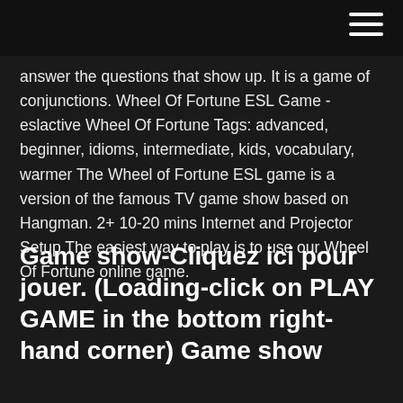answer the questions that show up. It is a game of conjunctions. Wheel Of Fortune ESL Game - eslactive Wheel Of Fortune Tags: advanced, beginner, idioms, intermediate, kids, vocabulary, warmer The Wheel of Fortune ESL game is a version of the famous TV game show based on Hangman. 2+ 10-20 mins Internet and Projector Setup The easiest way to play is to use our Wheel Of Fortune online game.
Game show-Cliquez ici pour jouer. (Loading-click on PLAY GAME in the bottom right-hand corner) Game show
Present Simple Tense Verbs Hangman Game. Wheel of